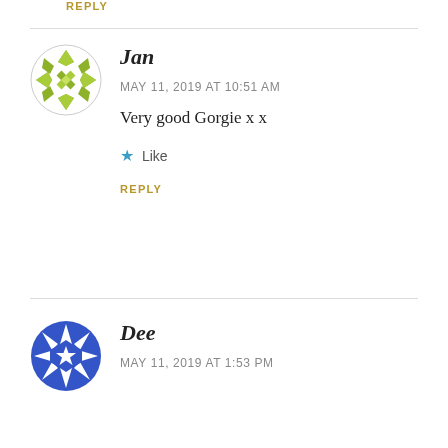REPLY
Jan
MAY 11, 2019 AT 10:51 AM
Very good Gorgie x x
Like
REPLY
Dee
MAY 11, 2019 AT 1:53 PM